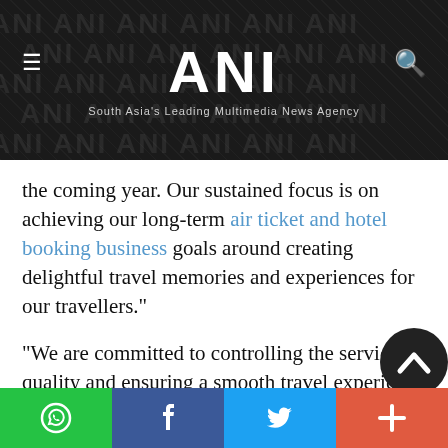ANI — South Asia's Leading Multimedia News Agency
the coming year. Our sustained focus is on achieving our long-term air ticket and hotel booking business goals around creating delightful travel memories and experiences for our travellers."
"We are committed to controlling the service quality and ensuring a smooth travel experience throughout the travel journey for consumers. We aspire to